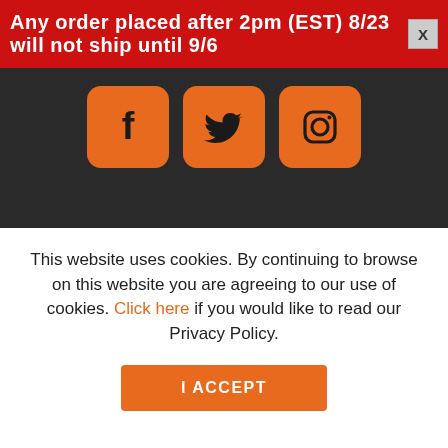Any order placed after 2pm (EST) 8/23 will not ship until 9/6
[Figure (other): Social media icons for Facebook, Twitter, and Instagram in orange rounded square buttons on dark background]
+1 224-944-1353
PO Box 348, Harrison, TN 37341, USA
This website uses cookies. By continuing to browse on this website you are agreeing to our use of cookies. Click here if you would like to read our Privacy Policy.
I ACCEPT